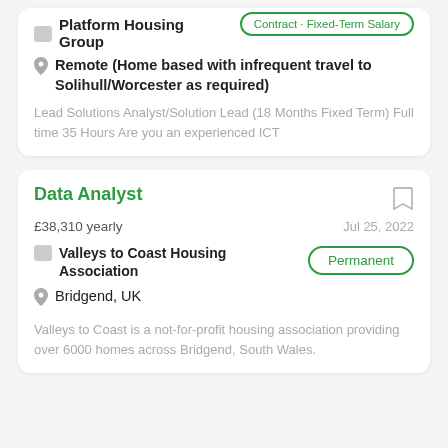Platform Housing Group
Remote (Home based with infrequent travel to Solihull/Worcester as required)
Lead Solutions Analyst/Solution Lead (18 Months Fixed Term) Full time 35 Hours Are you an experienced ICT
Data Analyst
£38,310 yearly
Jul 25, 2022
Valleys to Coast Housing Association
Permanent
Bridgend, UK
Valleys to Coast is a not-for-profit housing association providing over 6000 homes across Bridgend, South Wales.